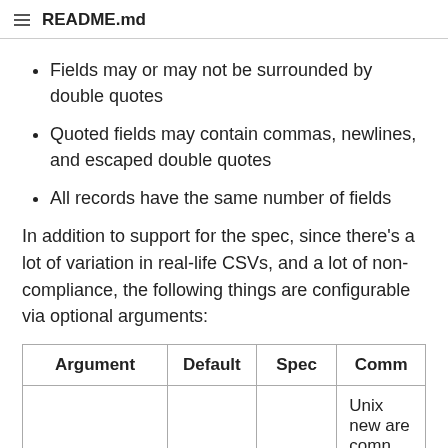README.md
Fields may or may not be surrounded by double quotes
Quoted fields may contain commas, newlines, and escaped double quotes
All records have the same number of fields
In addition to support for the spec, since there's a lot of variation in real-life CSVs, and a lot of non-compliance, the following things are configurable via optional arguments:
| Argument | Default | Spec | Comm |
| --- | --- | --- | --- |
|  | ["\n", |  | Unix new are comm enough t this is the |